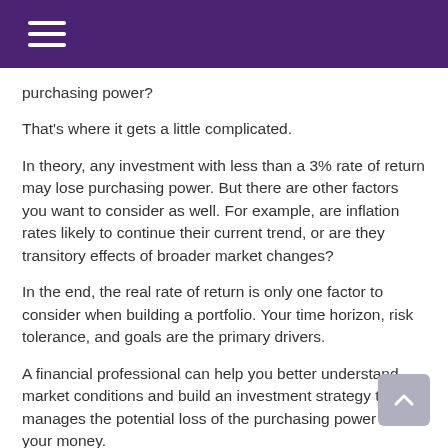purchasing power?
That's where it gets a little complicated.
In theory, any investment with less than a 3% rate of return may lose purchasing power. But there are other factors you want to consider as well. For example, are inflation rates likely to continue their current trend, or are they transitory effects of broader market changes?
In the end, the real rate of return is only one factor to consider when building a portfolio. Your time horizon, risk tolerance, and goals are the primary drivers.
A financial professional can help you better understand market conditions and build an investment strategy that manages the potential loss of the purchasing power of your money.